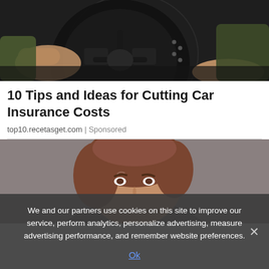[Figure (photo): Close-up photo of a person's hands on a car steering wheel, dark interior]
10 Tips and Ideas for Cutting Car Insurance Costs
top10.recetasget.com | Sponsored
[Figure (photo): Partial photo of a person with brown hair, gray background]
We and our partners use cookies on this site to improve our service, perform analytics, personalize advertising, measure advertising performance, and remember website preferences.
Ok